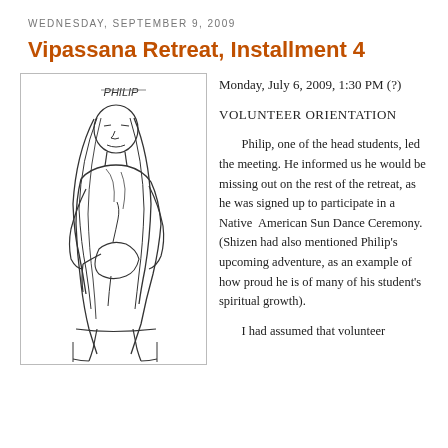WEDNESDAY, SEPTEMBER 9, 2009
Vipassana Retreat, Installment 4
[Figure (illustration): Hand-drawn pencil sketch of a person named Philip with long hair, sitting and holding objects, labeled 'PHILIP' at the top.]
Monday, July 6, 2009, 1:30 PM (?)
VOLUNTEER ORIENTATION
Philip, one of the head students, led the meeting. He informed us he would be missing out on the rest of the retreat, as he was signed up to participate in a Native American Sun Dance Ceremony. (Shizen had also mentioned Philip's upcoming adventure, as an example of how proud he is of many of his student's spiritual growth).
I had assumed that volunteer